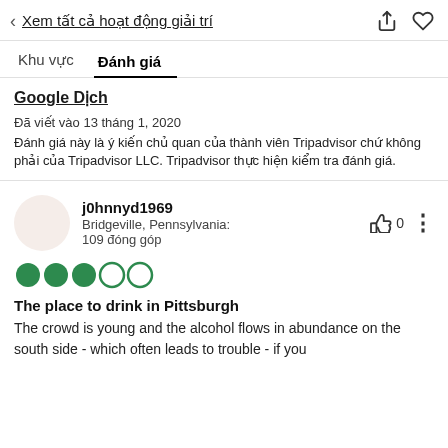< Xem tất cả hoạt động giải trí
Khu vực   Đánh giá
Google Dịch
Đã viết vào 13 tháng 1, 2020
Đánh giá này là ý kiến chủ quan của thành viên Tripadvisor chứ không phải của Tripadvisor LLC. Tripadvisor thực hiện kiểm tra đánh giá.
j0hnnyd1969
Bridgeville, Pennsylvania:
109 đóng góp
[Figure (other): 3 filled green circles and 2 empty green circles representing a 3 out of 5 rating]
The place to drink in Pittsburgh
The crowd is young and the alcohol flows in abundance on the south side - which often leads to trouble - if you